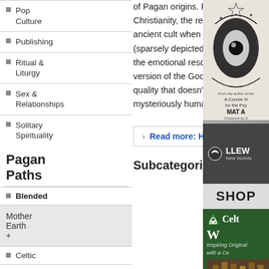Pop Culture
Publishing
Ritual & Liturgy
Sex & Relationships
Solitary Spirituality
of Pagan origins. For while ancient Paganism certainly influenced Christianity, the reverse is true as well. As Christians drew from ancient cult when they built up the figure of the Virgin Mary (sparsely depicted in the Gospels), so modern Pagans draw from the emotional resonance of the Virgin’s story to shape their own version of the Goddess. It is that resonance that draws me, a quality that doesn’t feel Christian or Pagan, just deeply, mysteriously human.
Pagan Paths
› Read more: Holy Mother
Blended
Mother Earth +
Subcategories
Celtic
Eastern
[Figure (illustration): Book cover advertisement - mystical eye design with text 'A Course In... for the Psy...' by MAT A... Foreword by S...]
[Figure (logo): Llewellyn New Worlds logo and SHOP button]
[Figure (photo): Celtic W... advertisement - green background with trinity knot logo, text 'Inspiring Original... with a Ce...']